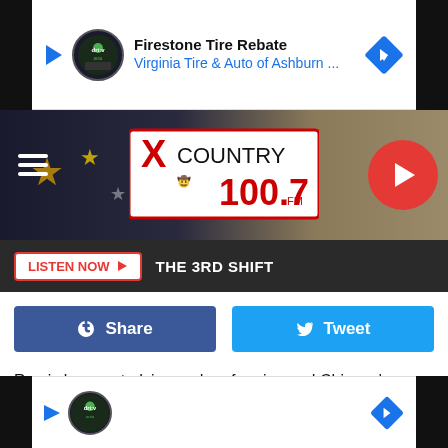[Figure (screenshot): Firestone Tire Rebate ad banner with Virginia Tire & Auto of Ashburn logo and navigation arrow]
[Figure (logo): X Country 100.7 FM radio station logo header with hamburger menu, stars background, and red play button]
LISTEN NOW  THE 3RD SHIFT
[Figure (infographic): Facebook Share and Twitter Tweet social sharing buttons]
Ramis began studying and performing and Chicago's legendary Second City in the 60s and 70s (when he left, he was replaced by John Belushi) and eventually became a performer and the head writer for SCTV. There he would meet some of his most frequent collaborators, including Bill Murray (they would go on to work together six times over the years, ... dhog
[Figure (screenshot): Bottom advertisement banner with drive auto logo, play button and navigation arrow]